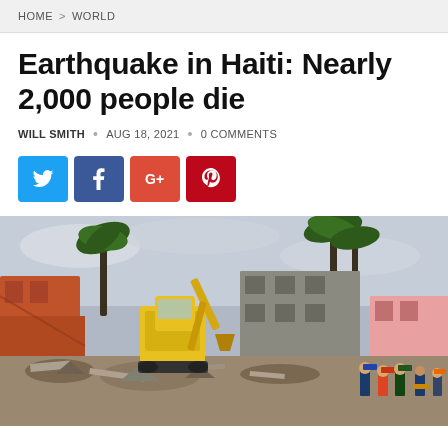HOME > WORLD
Earthquake in Haiti: Nearly 2,000 people die
WILL SMITH • AUG 18, 2021 • 0 COMMENTS
[Figure (other): Social media share buttons: Twitter (blue), Facebook (dark blue), Google+ (red), Pinterest (red)]
[Figure (photo): A yellow excavator working amid rubble and destroyed buildings after the Haiti earthquake, with rescue workers in the background and palm trees visible in the sky.]